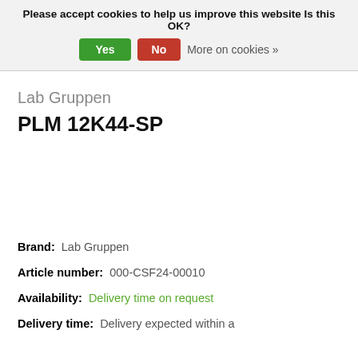Please accept cookies to help us improve this website Is this OK? Yes No More on cookies »
Lab Gruppen
PLM 12K44-SP
Brand: Lab Gruppen
Article number: 000-CSF24-00010
Availability: Delivery time on request
Delivery time: Delivery expected within a